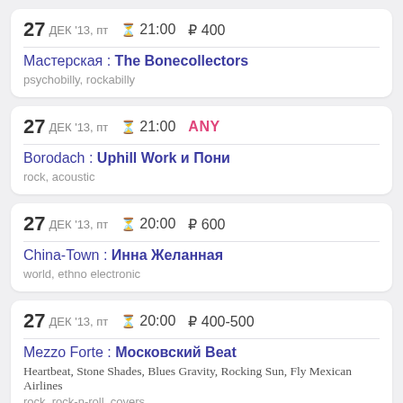27 ДЕК '13, ПТ  21:00  ₽400 | Мастерская : The Bonecollectors | psychobilly, rockabilly
27 ДЕК '13, ПТ  21:00  ANY | Borodach : Uphill Work и Пони | rock, acoustic
27 ДЕК '13, ПТ  20:00  ₽600 | China-Town : Инна Желанная | world, ethno electronic
27 ДЕК '13, ПТ  20:00  ₽400-500 | Mezzo Forte : Московский Beat | Heartbeat, Stone Shades, Blues Gravity, Rocking Sun, Fly Mexican Airlines | rock, rock-n-roll, covers